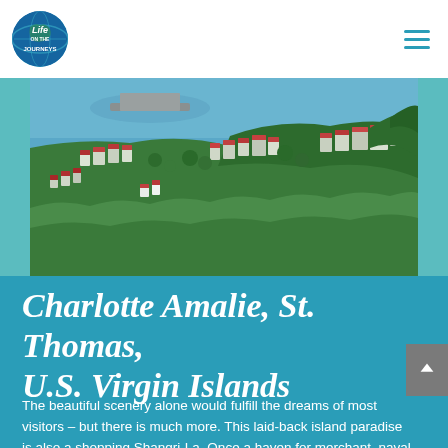[Figure (logo): Life Journeys circular logo with globe and text]
[Figure (photo): Aerial view of Charlotte Amalie, St. Thomas, U.S. Virgin Islands showing hillside town with colorful rooftops, lush green vegetation, and harbor with turquoise water]
Charlotte Amalie, St. Thomas, U.S. Virgin Islands
The beautiful scenery alone would fulfill the dreams of most visitors – but there is much more. This laid-back island paradise is also a shopping Shangri-La. Once a haven for merchant, naval and pirate ships, the